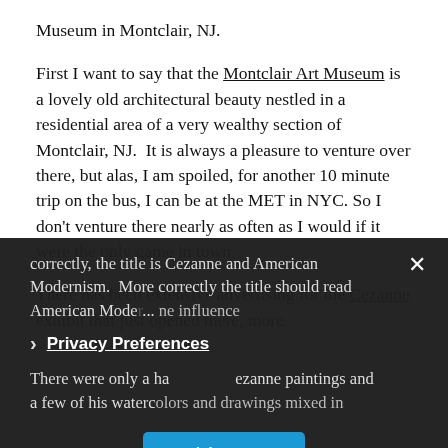Museum in Montclair, NJ.
First I want to say that the Montclair Art Museum is a lovely old architectural beauty nestled in a residential area of a very wealthy section of Montclair, NJ.  It is always a pleasure to venture over there, but alas, I am spoiled, for another 10 minute trip on the bus, I can be at the MET in NYC.  So I don't venture there nearly as often as I would if it were the only game in town.
There has been extensive advertising for the Cezanne exhibit that just opened there, more correctly, the title is Cezanne and American Modernism.  More correctly the title should read American Mode... [the influence]
There were only a ha... Cezanne paintings and a few of his watercolors and drawings mixed in
[Figure (screenshot): Privacy Preferences overlay with dark background, close button (×), text about Cezanne and American Modernism partially visible, a chevron (›) and 'Privacy Preferences' underlined link, and a blue 'I Agree' button.]